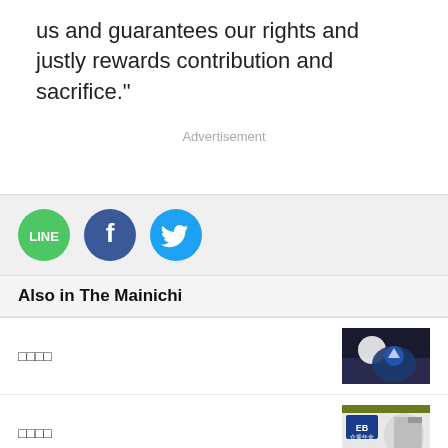us and guarantees our rights and justly rewards contribution and sacrifice."
Advertisement
[Figure (infographic): Three social sharing buttons: LINE (green circle), Facebook (dark blue circle with f), Twitter (light blue circle with bird icon)]
Also in The Mainichi
□□□□
□□□□
□□□□